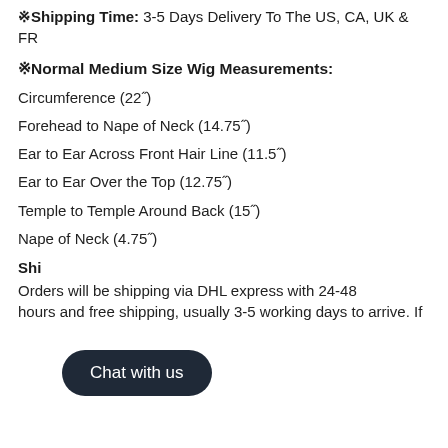※Shipping Time: 3-5 Days Delivery To The US, CA, UK & FR
※Normal Medium Size Wig Measurements:
Circumference (22")
Forehead to Nape of Neck (14.75")
Ear to Ear Across Front Hair Line (11.5")
Ear to Ear Over the Top (12.75")
Temple to Temple Around Back (15")
Nape of Neck (4.75")
Shi[pping information partially obscured by chat widget]
Orders will be shipping via DHL express with 24-48 hours and free shipping, usually 3-5 working days to arrive. If